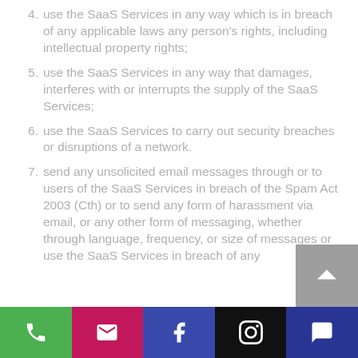use the SaaS Services in any way which is in breach of any applicable laws any person's rights, including intellectual property rights;
use the SaaS Services in any way that damages, interferes with or interrupts the supply of the SaaS Services;
use the SaaS Services to carry out security breaches or disruptions of a network.
send any unsolicited email messages through or to users of the SaaS Services in breach of the Spam Act 2003 (Cth) or to send any form of harassment via email, or any other form of messaging, whether through language, frequency, or size of messages or use the SaaS Services in breach of any